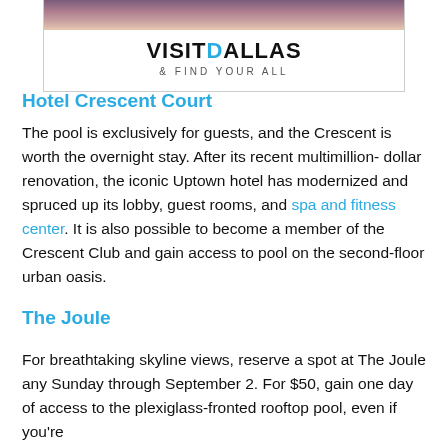[Figure (logo): Visit Dallas logo with mountain/landscape image at top, text VISITDALLAS and tagline & FIND YOUR ALL]
Hotel Crescent Court
The pool is exclusively for guests, and the Crescent is worth the overnight stay. After its recent multimillion-dollar renovation, the iconic Uptown hotel has modernized and spruced up its lobby, guest rooms, and spa and fitness center. It is also possible to become a member of the Crescent Club and gain access to pool on the second-floor urban oasis.
The Joule
For breathtaking skyline views, reserve a spot at The Joule any Sunday through September 2. For $50, gain one day of access to the plexiglass-fronted rooftop pool, even if you're